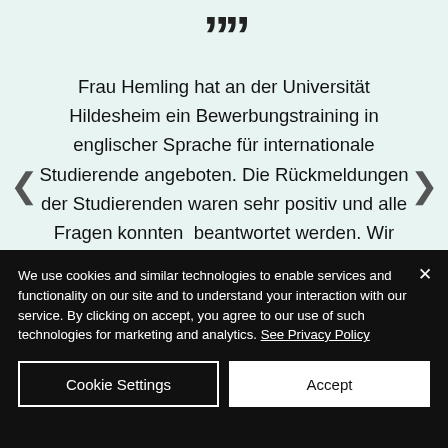[Figure (other): Closing quotation mark icon in teal/mint background]
Frau Hemling hat an der Universität Hildesheim ein Bewerbungstraining in englischer Sprache für internationale Studierende angeboten. Die Rückmeldungen der Studierenden waren sehr positiv und alle Fragen konnten beantwortet werden. Wir
We use cookies and similar technologies to enable services and functionality on our site and to understand your interaction with our service. By clicking on accept, you agree to our use of such technologies for marketing and analytics. See Privacy Policy
Cookie Settings
Accept